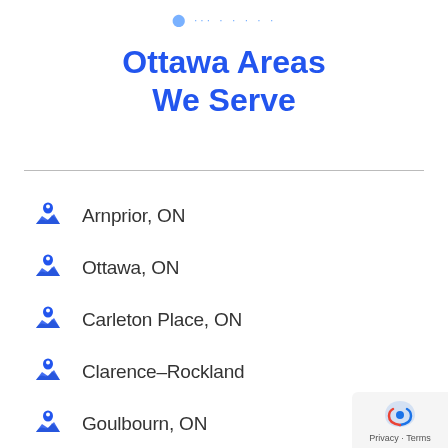Ottawa Areas We Serve
Ottawa Areas We Serve
Arnprior, ON
Ottawa, ON
Carleton Place, ON
Clarence–Rockland
Goulbourn, ON